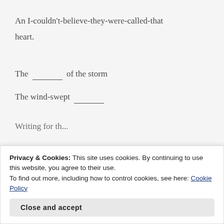An I-couldn't-believe-they-were-called-that
heart.
The ______ of the storm
The wind-swept ______
Writing for th...
Privacy & Cookies: This site uses cookies. By continuing to use this website, you agree to their use.
To find out more, including how to control cookies, see here: Cookie Policy
Close and accept